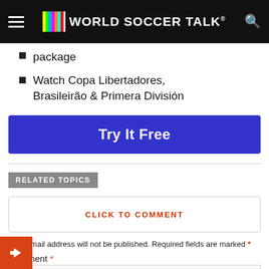World Soccer Talk
package
Watch Copa Libertadores, Brasileirão & Primera División
[Figure (other): Try It Free button — blue rounded rectangle with white bold text]
RELATED TOPICS
CLICK TO COMMENT
Your email address will not be published. Required fields are marked *
Comment *